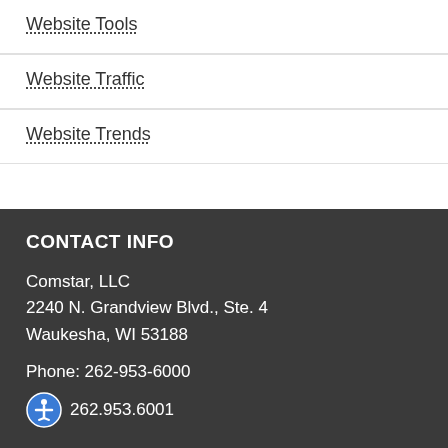Website Tools
Website Traffic
Website Trends
CONTACT INFO
Comstar, LLC
2240 N. Grandview Blvd., Ste. 4
Waukesha, WI 53188
Phone: 262-953-6000
262.953.6001